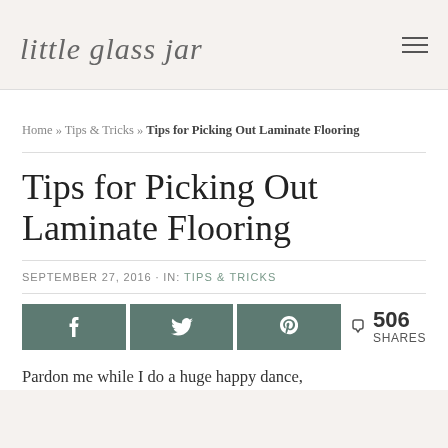little glass jar
Home » Tips & Tricks » Tips for Picking Out Laminate Flooring
Tips for Picking Out Laminate Flooring
SEPTEMBER 27, 2016 · IN: TIPS & TRICKS
f  Twitter  Pinterest  506 SHARES
Pardon me while I do a huge happy dance,